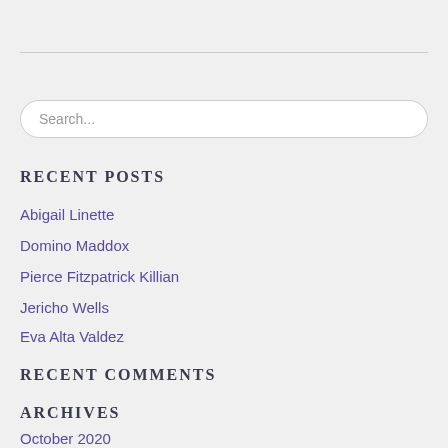Search...
RECENT POSTS
Abigail Linette
Domino Maddox
Pierce Fitzpatrick Killian
Jericho Wells
Eva Alta Valdez
RECENT COMMENTS
ARCHIVES
October 2020
June 2020